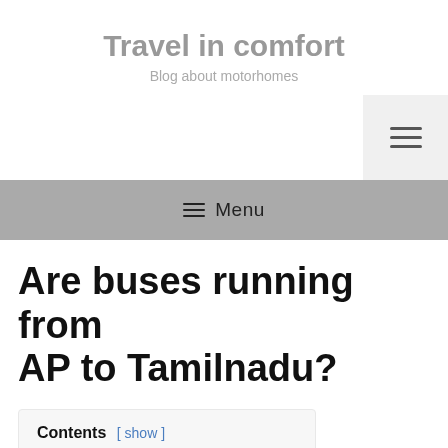Travel in comfort
Blog about motorhomes
[Figure (other): Hamburger menu icon button in light gray box, top right]
≡ Menu
Are buses running from AP to Tamilnadu?
Contents [ show ]